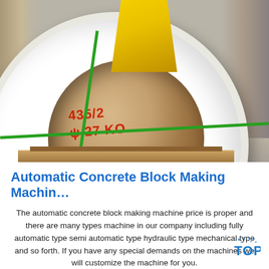[Figure (photo): Large white cylindrical coil or drum with a yellow component visible at the top and green strapping straps securing it. Red handwritten markings are visible inside the hollow core of the drum. The item sits on a pallet in an industrial/warehouse setting.]
Automatic Concrete Block Making Machin…
The automatic concrete block making machine price is proper and there are many types machine in our company including fully automatic type semi automatic type hydraulic type mechanical type and so forth. If you have any special demands on the machines we will customize the machine for you.